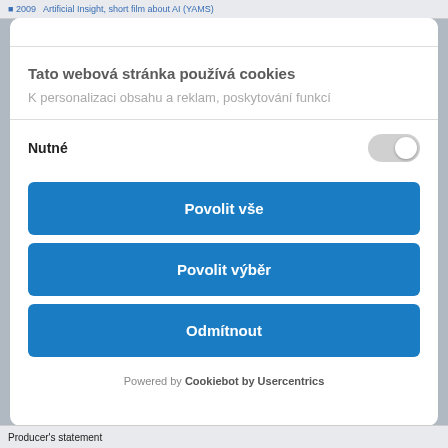2009  Artificial Insight, short film about AI (YAMS)
Tato webová stránka používá cookies
K personalizaci obsahu a reklam, poskytování funkcí
Nutné
Povolit vše
Povolit výběr
Odmítnout
Powered by Cookiebot by Usercentrics
Producer's statement